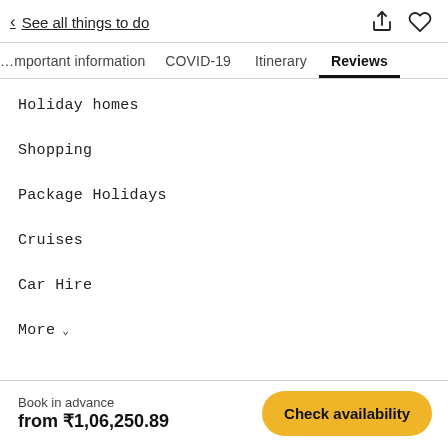< See all things to do
Holiday homes
Shopping
Package Holidays
Cruises
Car Hire
More ˅
Book in advance from ₹1,06,250.89  Check availability